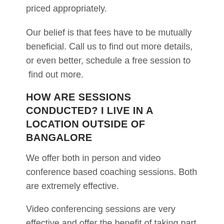priced appropriately.
Our belief is that fees have to be mutually beneficial. Call us to find out more details, or even better, schedule a free session to  find out more.
HOW ARE SESSIONS CONDUCTED? I LIVE IN A LOCATION OUTSIDE OF BANGALORE
We offer both in person and video conference based coaching sessions. Both are extremely effective.
Video conferencing sessions are very effective and offer the benefit of taking part in the session without the troubles and time needed for commuting to